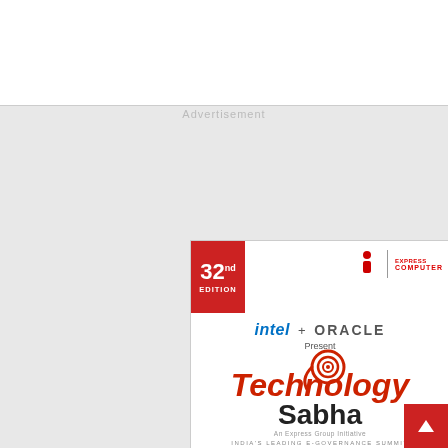Advertisement
[Figure (illustration): Technology Sabha advertisement. 32nd Edition badge in red. Intel + Oracle Present. Technology Sabha logo with spiral eye graphic. India's Leading E-Governance Summit. Taking the next digital leap by raising the bar for E-Governance. Bullet points: Creating scalable digital platforms for improving governance; Best practices and case studies on innovative use of technology in e-governance; Using the cloud to drive innovation. #TechSabha hashtag at bottom on dark blue gradient background.]